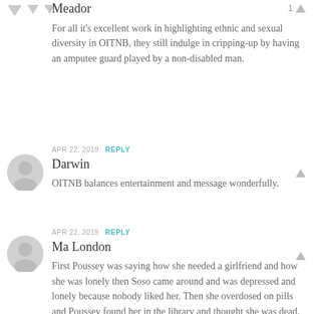[Figure (other): Two downward-pointing vote arrows (gray) at top left]
Meador
1
For all it's excellent work in highlighting ethnic and sexual diversity in OITNB, they still indulge in cripping-up by having an amputee guard played by a non-disabled man.
APR 22, 2019  REPLY
[Figure (other): Gray user avatar circle icon]
Darwin
OITNB balances entertainment and message wonderfully.
APR 22, 2019  REPLY
[Figure (other): Gray user avatar circle icon]
Ma London
First Poussey was saying how she needed a girlfriend and how she was lonely then Soso came around and was depressed and lonely because nobody liked her. Then she overdosed on pills and Poussey found her in the library and thought she was dead. Good thing Poussey is always in there. Then during Norma's class Poussey stood up for her.